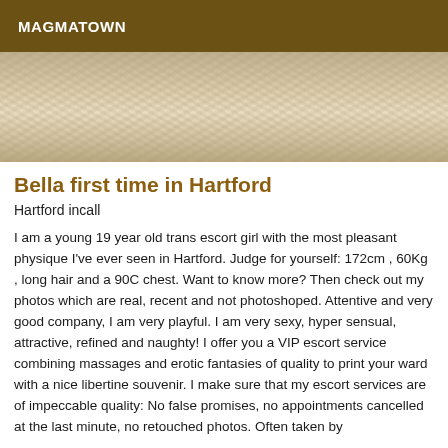MAGMATOWN
[Figure (photo): Close-up photo of fluffy/textured light beige fabric or fur material, partially cropped, showing texture detail]
Bella first time in Hartford
Hartford incall
I am a young 19 year old trans escort girl with the most pleasant physique I've ever seen in Hartford. Judge for yourself: 172cm , 60Kg , long hair and a 90C chest. Want to know more? Then check out my photos which are real, recent and not photoshoped. Attentive and very good company, I am very playful. I am very sexy, hyper sensual, attractive, refined and naughty! I offer you a VIP escort service combining massages and erotic fantasies of quality to print your ward with a nice libertine souvenir. I make sure that my escort services are of impeccable quality: No false promises, no appointments cancelled at the last minute, no retouched photos. Often taken by